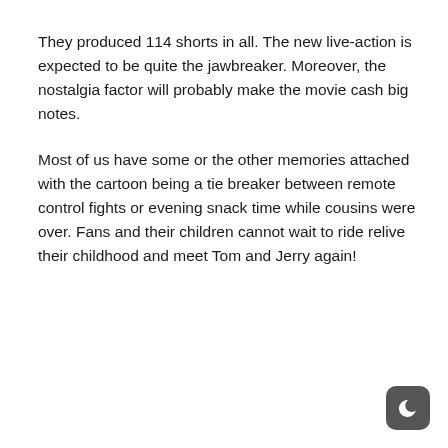They produced 114 shorts in all. The new live-action is expected to be quite the jawbreaker. Moreover, the nostalgia factor will probably make the movie cash big notes.
Most of us have some or the other memories attached with the cartoon being a tie breaker between remote control fights or evening snack time while cousins were over. Fans and their children cannot wait to ride relive their childhood and meet Tom and Jerry again!